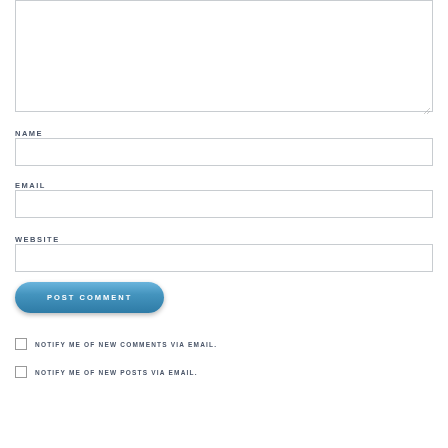[Figure (screenshot): Comment form textarea (empty, resizable)]
NAME
[Figure (screenshot): Name input field (empty)]
EMAIL
[Figure (screenshot): Email input field (empty)]
WEBSITE
[Figure (screenshot): Website input field (empty)]
[Figure (screenshot): POST COMMENT button (blue rounded)]
NOTIFY ME OF NEW COMMENTS VIA EMAIL.
NOTIFY ME OF NEW POSTS VIA EMAIL.